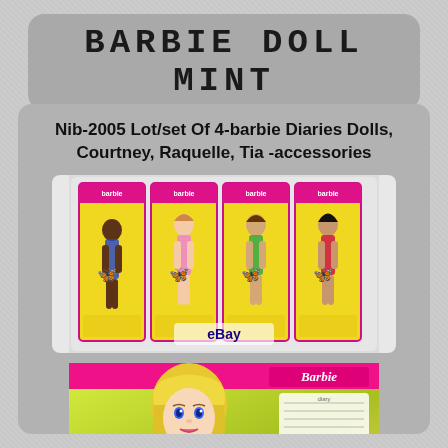BARBIE DOLL MINT
Nib-2005 Lot/set Of 4-barbie Diaries Dolls, Courtney, Raquelle, Tia -accessories
[Figure (photo): Photo showing a set of 4 Barbie Diaries dolls in yellow and pink packaging boxes, displayed side by side. An eBay watermark is visible in the lower center of the photo. Butterfly decorations appear on the boxes.]
[Figure (photo): Close-up photo of a Barbie doll in packaging. The doll has long blonde hair and is wearing a pink outfit. The box has a yellow-green background with the Barbie brand logo in pink. Accessories including a bag and clothing items are visible on the right side of the packaging.]